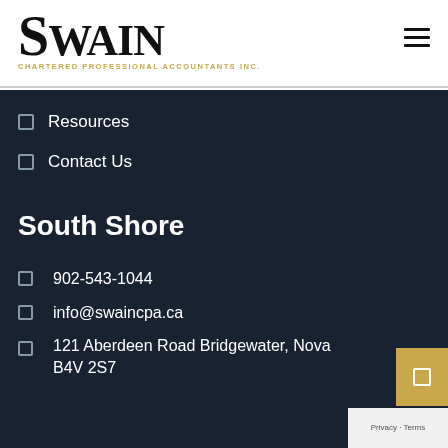[Figure (logo): Swain Chartered Professional Accountants Inc. logo — large serif 'SWAIN' wordmark with golden subtitle text]
Resources
Contact Us
South Shore
902-543-1044
info@swaincpa.ca
121 Aberdeen Road Bridgewater, Nova B4V 2S7